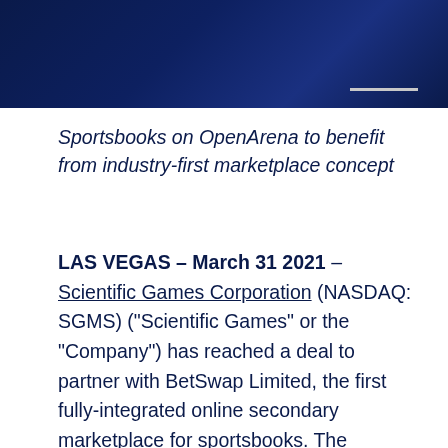Sportsbooks on OpenArena to benefit from industry-first marketplace concept
LAS VEGAS – March 31 2021 – Scientific Games Corporation (NASDAQ: SGMS) ("Scientific Games" or the "Company") has reached a deal to partner with BetSwap Limited, the first fully-integrated online secondary marketplace for sportsbooks. The BetSwap platform provides bettors with an industry-first ability to buy and sell active betslips with other bettors on their sportsbook of choice, whether it is before or during a match – as long as the outcome hasn't been